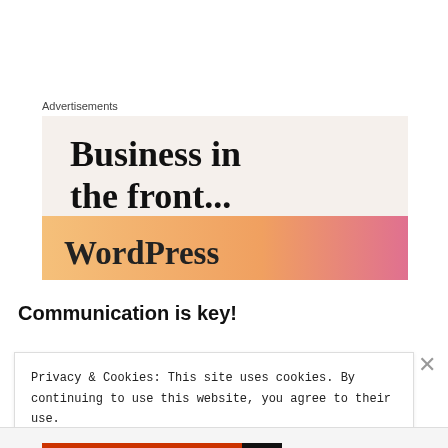Advertisements
[Figure (illustration): WordPress advertisement banner. Top section has light beige background with bold black text 'Business in the front...'. Bottom section has an orange-to-pink gradient background with bold dark text 'WordPress'.]
Communication is key!
Privacy & Cookies: This site uses cookies. By continuing to use this website, you agree to their use.
To find out more, including how to control cookies, see here: Cookie Policy
Close and accept